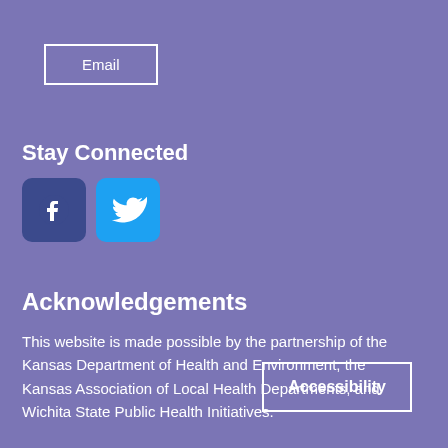Email
Stay Connected
[Figure (illustration): Facebook and Twitter social media icon buttons]
Acknowledgements
This website is made possible by the partnership of the Kansas Department of Health and Environment, the Kansas Association of Local Health Departments, and Wichita State Public Health Initiatives.
Accessibility